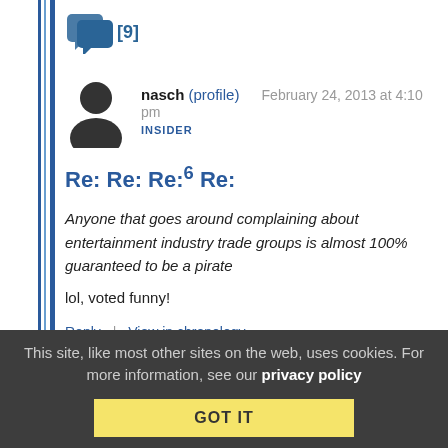[Figure (illustration): Chat icon with [9] comment count badge]
[Figure (illustration): User avatar silhouette icon]
nasch (profile)   February 24, 2013 at 4:10 pm
INSIDER
Re: Re: Re:6 Re:
Anyone that goes around complaining about entertainment industry trade groups is almost 100% guaranteed to be a pirate
lol, voted funny!
Reply | View in chronology
This site, like most other sites on the web, uses cookies. For more information, see our privacy policy
GOT IT